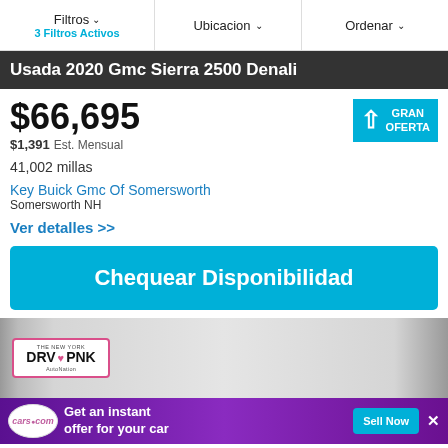Filtros  3 Filtros Activos | Ubicacion | Ordenar
Usada 2020 Gmc Sierra 2500 Denali
$66,695  $1,391 Est. Mensual
41,002 millas
Key Buick Gmc Of Somersworth
Somersworth NH
Ver detalles >>
Chequear Disponibilidad
[Figure (screenshot): Car listing image showing DRV PNK badge overlay on gray background]
[Figure (infographic): cars.com advertisement banner: Get an instant offer for your car - Sell Now button]